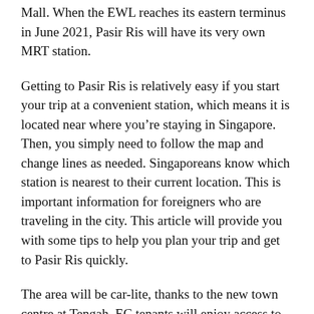Mall. When the EWL reaches its eastern terminus in June 2021, Pasir Ris will have its very own MRT station.
Getting to Pasir Ris is relatively easy if you start your trip at a convenient station, which means it is located near where you're staying in Singapore. Then, you simply need to follow the map and change lines as needed. Singaporeans know which station is nearest to their current location. This is important information for foreigners who are traveling in the city. This article will provide you with some tips to help you plan your trip and get to Pasir Ris quickly.
The area will be car-lite, thanks to the new town centre at Tengah. EC tenants will enjoy access to three MRT stations, including Tengah Plantation, which is scheduled to be operational in 2026.